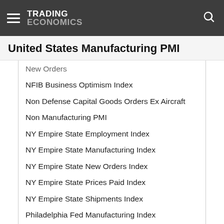TRADING ECONOMICS
United States Manufacturing PMI
New Orders
NFIB Business Optimism Index
Non Defense Capital Goods Orders Ex Aircraft
Non Manufacturing PMI
NY Empire State Employment Index
NY Empire State Manufacturing Index
NY Empire State New Orders Index
NY Empire State Prices Paid Index
NY Empire State Shipments Index
Philadelphia Fed Manufacturing Index
Philly Fed Business Conditions
Philly Fed CAPEX Index
Philly Fed Employment
Philly Fed New Orders
Philly Fed Prices Paid
Refinery Crude Runs
Retail Inventories Ex Autos